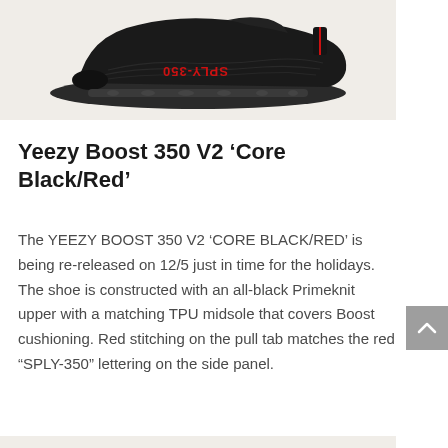[Figure (photo): Adidas Yeezy Boost 350 V2 Core Black/Red sneaker photographed from the side on a light beige background. The shoe is black with red SPLY-350 lettering on the side panel, shown upside down/mirrored.]
Yeezy Boost 350 V2 ‘Core Black/Red’
The YEEZY BOOST 350 V2 ‘CORE BLACK/RED’ is being re-released on 12/5 just in time for the holidays. The shoe is constructed with an all-black Primeknit upper with a matching TPU midsole that covers Boost cushioning. Red stitching on the pull tab matches the red “SPLY-350” lettering on the side panel.